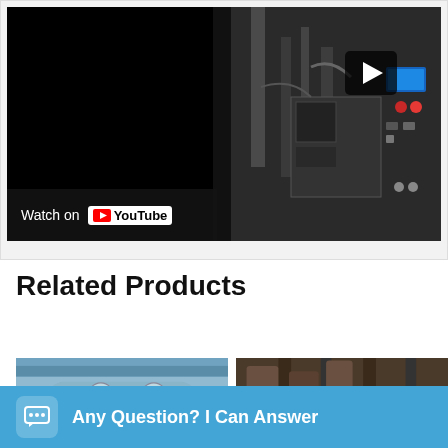[Figure (screenshot): YouTube video embed showing an industrial packaging machine. Left half is black (video not playing), right half shows the machine with pipes and blue/red LED panel. A play button is visible. Bottom-left overlay shows 'Watch on YouTube' branding.]
Related Products
[Figure (photo): Photo of industrial machine with blue cylindrical component, close-up view.]
[Figure (photo): Photo of industrial piping and machinery interior.]
Any Question? I Can Answer